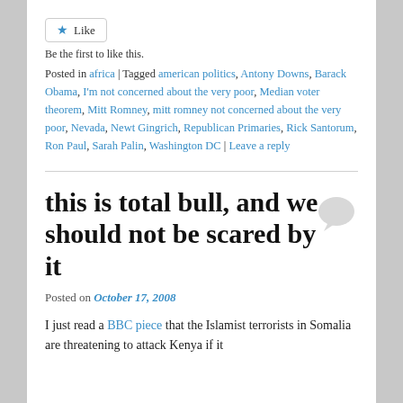Like
Be the first to like this.
Posted in africa | Tagged american politics, Antony Downs, Barack Obama, I'm not concerned about the very poor, Median voter theorem, Mitt Romney, mitt romney not concerned about the very poor, Nevada, Newt Gingrich, Republican Primaries, Rick Santorum, Ron Paul, Sarah Palin, Washington DC | Leave a reply
this is total bull, and we should not be scared by it
Posted on October 17, 2008
I just read a BBC piece that the Islamist terrorists in Somalia are threatening to attack Kenya if it